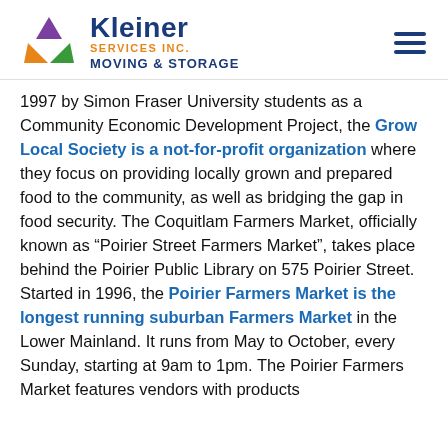Kleiner Services Inc. Moving & Storage
1997 by Simon Fraser University students as a Community Economic Development Project, the Grow Local Society is a not-for-profit organization where they focus on providing locally grown and prepared food to the community, as well as bridging the gap in food security. The Coquitlam Farmers Market, officially known as “Poirier Street Farmers Market”, takes place behind the Poirier Public Library on 575 Poirier Street. Started in 1996, the Poirier Farmers Market is the longest running suburban Farmers Market in the Lower Mainland. It runs from May to October, every Sunday, starting at 9am to 1pm. The Poirier Farmers Market features vendors with products